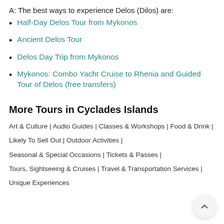A:  The best ways to experience Delos (Dilos) are:
Half-Day Delos Tour from Mykonos
Ancient Delos Tour
Delos Day Trip from Mykonos
Mykonos: Combo Yacht Cruise to Rhenia and Guided Tour of Delos (free transfers)
More Tours in Cyclades Islands
Art & Culture | Audio Guides | Classes & Workshops | Food & Drink | Likely To Sell Out | Outdoor Activities | Seasonal & Special Occasions | Tickets & Passes | Tours, Sightseeing & Cruises | Travel & Transportation Services | Unique Experiences